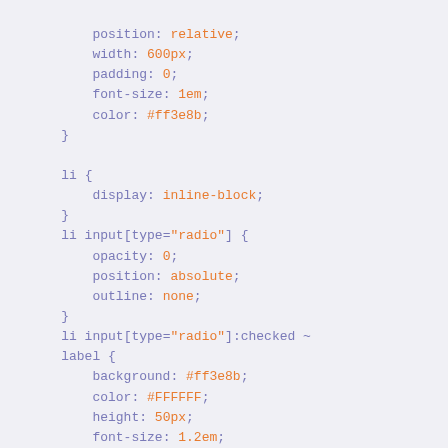CSS code snippet showing position, width, padding, font-size, color, li, li input[type=radio], li input[type=radio]:checked ~ label, li input[type=radio]:checked ~ .section rules